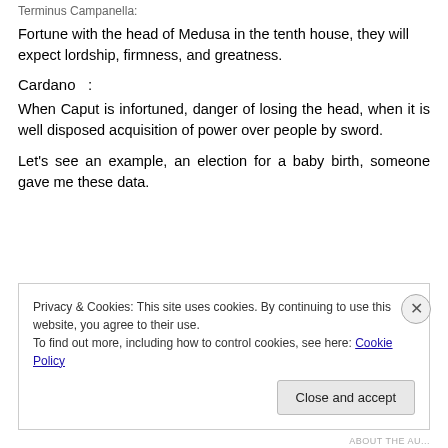Terminus Campanella:
Fortune with the head of Medusa in the tenth house, they will expect lordship, firmness, and greatness.
Cardano   :
When Caput is infortuned, danger of losing the head, when it is well disposed acquisition of power over people by sword.
Let's see an example, an election for a baby birth, someone gave me these data.
Privacy & Cookies: This site uses cookies. By continuing to use this website, you agree to their use.
To find out more, including how to control cookies, see here: Cookie Policy
ABOUT THE AU...